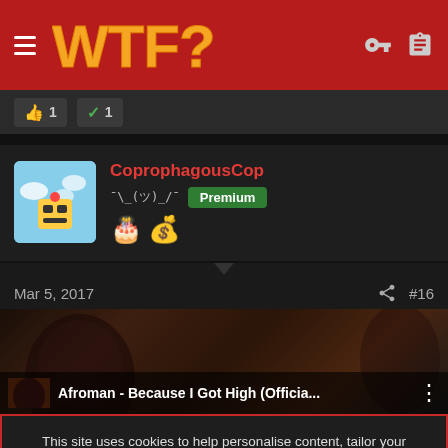WTF?
[Figure (screenshot): Reaction bar with thumbs up count 1 and checkmark count 1]
[Figure (screenshot): User profile: CoprophagousCop with Premium badge, shruggie emoticon, birthday cake and money bag emojis, avatar with robot face on blue sky background]
Mar 5, 2017   #16
[Figure (screenshot): Video thumbnail for Afroman - Because I Got High (Officia... with dark background showing person's face]
This site uses cookies to help personalise content, tailor your experience and to keep you logged in if you register.
By continuing to use this site, you are consenting to our use of cookies.
ACCEPT   LEARN MORE...